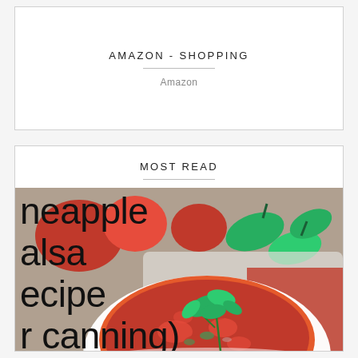AMAZON - SHOPPING
Amazon
MOST READ
[Figure (photo): A bowl of pineapple salsa with cilantro garnish, surrounded by jalapeños and tortilla chips. Overlaid text reads 'pineapple salsa recipe (for canning)']